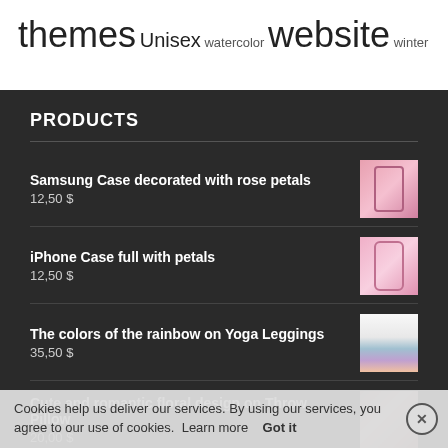themes Unisex watercolor website winter
PRODUCTS
Samsung Case decorated with rose petals
12,50 $
iPhone Case full with petals
12,50 $
The colors of the rainbow on Yoga Leggings
35,50 $
Cute and romantic floral design on Throw Pillow
20,00 $
Cookies help us deliver our services. By using our services, you agree to our use of cookies. Learn more   Got it